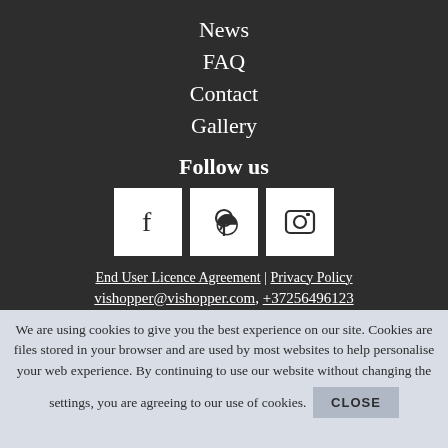News
FAQ
Contact
Gallery
Follow us
[Figure (illustration): Three social media icon boxes: Facebook (f), Pinterest (p), Instagram (camera icon)]
End User Licence Agreement | Privacy Policy
vishopper@vishopper.com, +37256496123
We are using cookies to give you the best experience on our site. Cookies are files stored in your browser and are used by most websites to help personalise your web experience. By continuing to use our website without changing the settings, you are agreeing to our use of cookies.